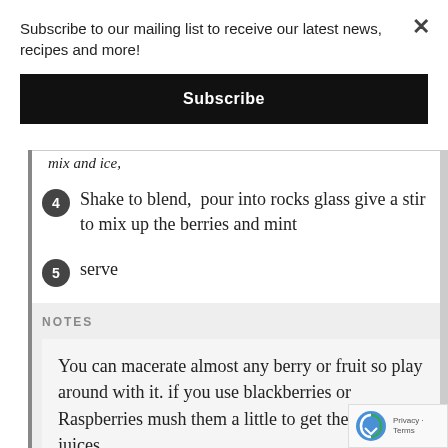Subscribe to our mailing list to receive our latest news, recipes and more!
Subscribe
mix and ice,
4 Shake to blend, pour into rocks glass give a stir to mix up the berries and mint
5 serve
NOTES
You can macerate almost any berry or fruit so play around with it. if you use blackberries or Raspberries mush them a little to get the sugar and juices